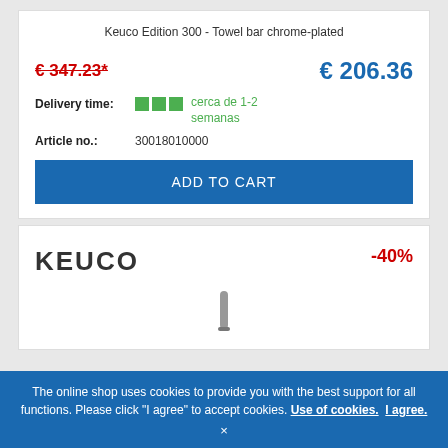Keuco Edition 300 - Towel bar chrome-plated
€ 347.23*
€ 206.36
Delivery time: cerca de 1-2 semanas
Article no.: 30018010000
ADD TO CART
[Figure (logo): KEUCO brand logo in bold sans-serif letters]
-40%
The online shop uses cookies to provide you with the best support for all functions. Please click "I agree" to accept cookies. Use of cookies. I agree.